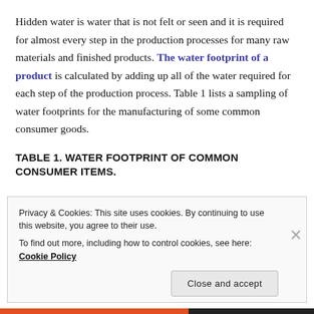Hidden water is water that is not felt or seen and it is required for almost every step in the production processes for many raw materials and finished products. The water footprint of a product is calculated by adding up all of the water required for each step of the production process. Table 1 lists a sampling of water footprints for the manufacturing of some common consumer goods.
TABLE 1. WATER FOOTPRINT OF COMMON CONSUMER ITEMS.
Privacy & Cookies: This site uses cookies. By continuing to use this website, you agree to their use.
To find out more, including how to control cookies, see here: Cookie Policy